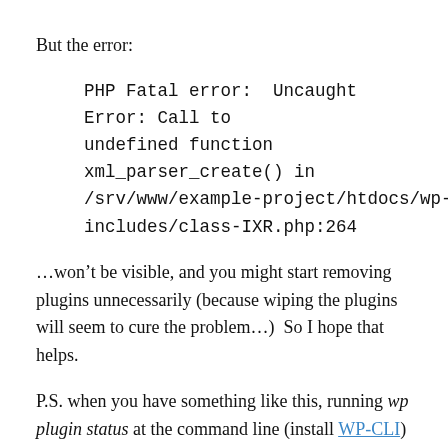But the error:
PHP Fatal error:  Uncaught Error: Call to undefined function xml_parser_create() in /srv/www/example-project/htdocs/wp-includes/class-IXR.php:264
...won’t be visible, and you might start removing plugins unnecessarily (because wiping the plugins will seem to cure the problem…)  So I hope that helps.
P.S. when you have something like this, running wp plugin status at the command line (install WP-CLI) is a good idea, as you’ll see all